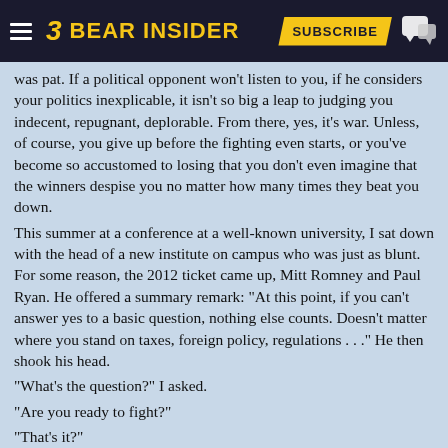BEAR INSIDER — SUBSCRIBE
was pat. If a political opponent won't listen to you, if he considers your politics inexplicable, it isn't so big a leap to judging you indecent, repugnant, deplorable. From there, yes, it's war. Unless, of course, you give up before the fighting even starts, or you've become so accustomed to losing that you don't even imagine that the winners despise you no matter how many times they beat you down.
This summer at a conference at a well-known university, I sat down with the head of a new institute on campus who was just as blunt. For some reason, the 2012 ticket came up, Mitt Romney and Paul Ryan. He offered a summary remark: "At this point, if you can't answer yes to a basic question, nothing else counts. Doesn't matter where you stand on taxes, foreign policy, regulations . . ." He then shook his head.
"What's the question?" I asked.
"Are you ready to fight?"
"That's it?"
"Yeah," he replied with a shrug, "that's it."
No more compromise, no more calls for bipartisanship.
Republicans have been outfoxed on that score every time.
Senator Lamar Alexander (R-Tenn.) is retiringgood. The old liberal promises of compromise and conciliation were and are false (remember the pledge that when we get same-sex marriage we'll be done with sex and gender issues?). Barack Obama's